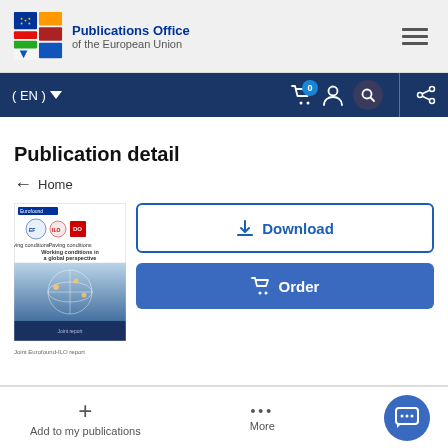Publications Office of the European Union
Publication detail
← Home
[Figure (screenshot): Book cover thumbnail for 'Working conditions in a global perspective' publication, with Eurofound and ILO logos at top]
Download
Order
+ Add to my publications
... More